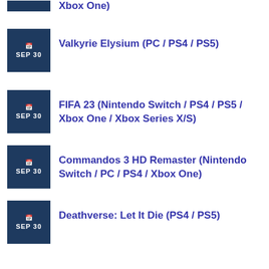Xbox One)
SEP 30 Valkyrie Elysium (PC / PS4 / PS5)
SEP 30 FIFA 23 (Nintendo Switch / PS4 / PS5 / Xbox One / Xbox Series X/S)
SEP 30 Commandos 3 HD Remaster (Nintendo Switch / PC / PS4 / Xbox One)
SEP 30 Deathverse: Let It Die (PS4 / PS5)